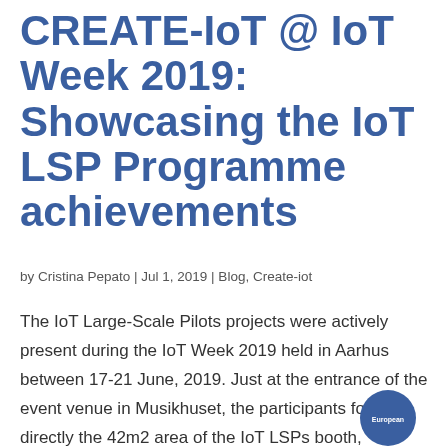CREATE-IoT @ IoT Week 2019: Showcasing the IoT LSP Programme achievements
by Cristina Pepato | Jul 1, 2019 | Blog, Create-iot
The IoT Large-Scale Pilots projects were actively present during the IoT Week 2019 held in Aarhus between 17-21 June, 2019. Just at the entrance of the event venue in Musikhuset, the participants found directly the 42m2 area of the IoT LSPs booth, providing a common...
[Figure (logo): European logo circle - partially visible at bottom right]